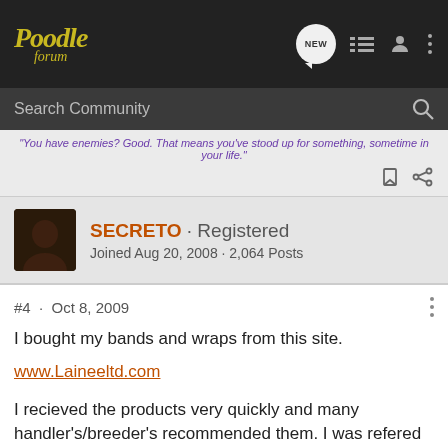Poodle forum
Search Community
"You have enemies? Good. That means you've stood up for something, sometime in your life."
SECRETO · Registered
Joined Aug 20, 2008 · 2,064 Posts
#4 · Oct 8, 2009
I bought my bands and wraps from this site.
www.Laineeltd.com
I recieved the products very quickly and many handler's/breeder's recommended them. I was refered from a breeder that order's from them heavily.